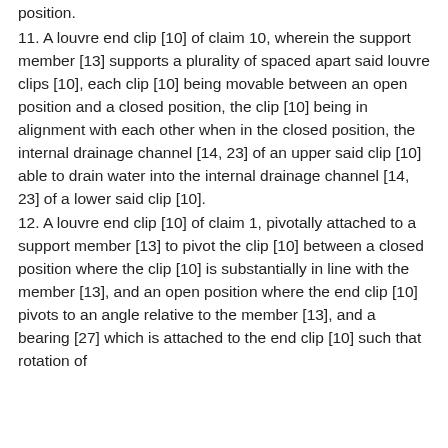position.
11. A louvre end clip [10] of claim 10, wherein the support member [13] supports a plurality of spaced apart said louvre clips [10], each clip [10] being movable between an open position and a closed position, the clip [10] being in alignment with each other when in the closed position, the internal drainage channel [14, 23] of an upper said clip [10] able to drain water into the internal drainage channel [14, 23] of a lower said clip [10].
12. A louvre end clip [10] of claim 1, pivotally attached to a support member [13] to pivot the clip [10] between a closed position where the clip [10] is substantially in line with the member [13], and an open position where the end clip [10] pivots to an angle relative to the member [13], and a bearing [27] which is attached to the end clip [10] such that rotation of